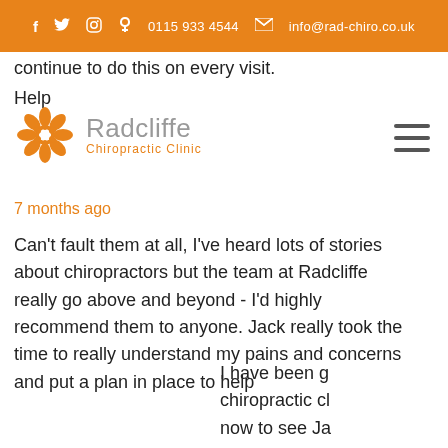f  🐦  📷  📞 0115 933 4544  ✉ info@rad-chiro.co.uk
continue to do this on every visit.
Help
[Figure (logo): Radcliffe Chiropractic Clinic logo — orange flower/mandala icon with text 'Radcliffe Chiropractic Clinic']
[Figure (other): Hamburger menu icon (three horizontal lines)]
I have been go... chiropractic cl... now to see Ja... pains and nov... visits .From th... are greeted b... feel so welco... and bubbly pe... is so professi... puts you at ea... .Highly recom... Hide
7 months ago
Can't fault them at all, I've heard lots of stories about chiropractors but the team at Radcliffe really go above and beyond - I'd highly recommend them to anyone. Jack really took the time to really understand my pains and concerns and put a plan in place to help